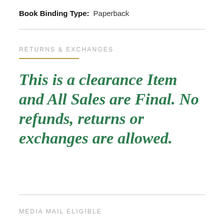Book Binding Type:  Paperback
RETURNS & EXCHANGES
This is a clearance Item and All Sales are Final. No refunds, returns or exchanges are allowed.
MEDIA MAIL ELIGIBLE